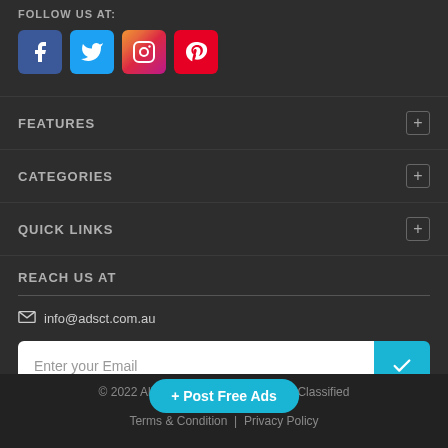FOLLOW US AT:
[Figure (other): Social media icons: Facebook (blue), Twitter (light blue), Instagram (gradient), Pinterest (red)]
FEATURES
CATEGORIES
QUICK LINKS
REACH US AT
info@adsct.com.au
Enter your Email
Subscribe and receive the latest post!
© 2022 All Rights Reserved Classified | Terms & Condition | Privacy Policy